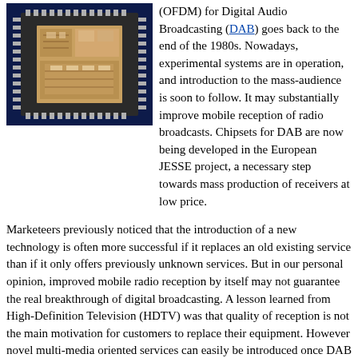[Figure (photo): Photo of a microchip/integrated circuit on a dark blue background, square chip with golden inner die, surrounded by pins on all sides.]
(OFDM) for Digital Audio Broadcasting (DAB) goes back to the end of the 1980s. Nowadays, experimental systems are in operation, and introduction to the mass-audience is soon to follow. It may substantially improve mobile reception of radio broadcasts. Chipsets for DAB are now being developed in the European JESSE project, a necessary step towards mass production of receivers at low price.
Marketeers previously noticed that the introduction of a new technology is often more successful if it replaces an old existing service than if it only offers previously unknown services. But in our personal opinion, improved mobile radio reception by itself may not guarantee the real breakthrough of digital broadcasting. A lesson learned from High-Definition Television (HDTV) was that quality of reception is not the main motivation for customers to replace their equipment. However novel multi-media oriented services can easily be introduced once DAB is operational, which may appear to be a substantial market.
Presumably, one of the
[Figure (photo): Photo of a DAB receiver/radio device, appears to be a black consumer electronics device.]